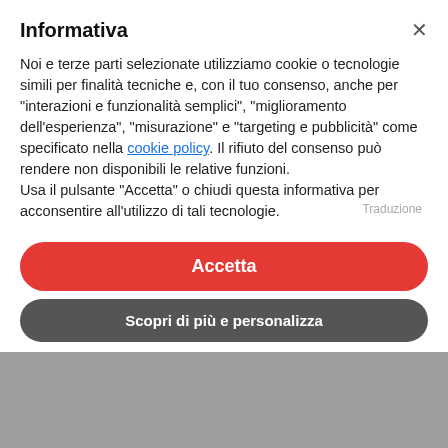Informativa
Noi e terze parti selezionate utilizziamo cookie o tecnologie simili per finalità tecniche e, con il tuo consenso, anche per “interazioni e funzionalità semplici”, “miglioramento dell’esperienza”, “misurazione” e “targeting e pubblicità” come specificato nella cookie policy. Il rifiuto del consenso può rendere non disponibili le relative funzioni.
Usa il pulsante “Accetta” o chiudi questa informativa per acconsentire all’utilizzo di tali tecnologie.
Accetta
Scopri di più e personalizza
MIKA
DINA
INSIEME
NTA DEXA ES SENSACAD
INVADIM
NAO E CA E POSSIVEL RESISTI
NKRE XINTIBO NTEM GANA FLABO
TUDO KI BU TA INSPIRAM BABY
NTA APPRECIA MANERA KI BU TA...
ENTAO BEM MOSTRAM
MANERA KI BU KRE I JUST WANNA FEEL
Traduzione
MIKA
DINA
INSIEME
LASCIA CHE LA SENSAZIONE
VOGLIO SENTIRTI, DESIDERO
PARLARTI
PERCHÉ TU MI ISPIRI TUTTO QUESTO BABY
TI APPREZZO PER QUELLO CHE SEI..
ALLORA MOSTRATI